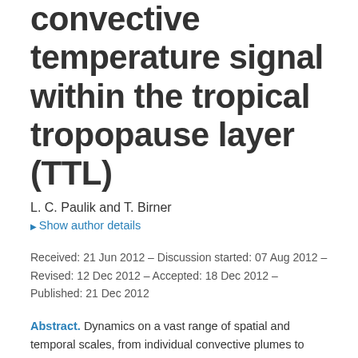convective temperature signal within the tropical tropopause layer (TTL)
L. C. Paulik and T. Birner
Show author details
Received: 21 Jun 2012 – Discussion started: 07 Aug 2012 – Revised: 12 Dec 2012 – Accepted: 18 Dec 2012 – Published: 21 Dec 2012
Abstract. Dynamics on a vast range of spatial and temporal scales, from individual convective plumes to planetary-scale circulations, play a role in driving the temperature variability in the tropical tropopause layer (TTL). Here, we aim to better